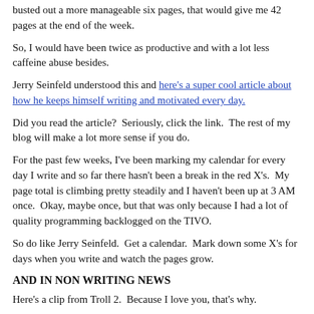busted out a more manageable six pages, that would give me 42 pages at the end of the week.
So, I would have been twice as productive and with a lot less caffeine abuse besides.
Jerry Seinfeld understood this and here's a super cool article about how he keeps himself writing and motivated every day.
Did you read the article?  Seriously, click the link.  The rest of my blog will make a lot more sense if you do.
For the past few weeks, I've been marking my calendar for every day I write and so far there hasn't been a break in the red X's.  My page total is climbing pretty steadily and I haven't been up at 3 AM once.  Okay, maybe once, but that was only because I had a lot of quality programming backlogged on the TIVO.
So do like Jerry Seinfeld.  Get a calendar.  Mark down some X's for days when you write and watch the pages grow.
AND IN NON WRITING NEWS
Here's a clip from Troll 2.  Because I love you, that's why.